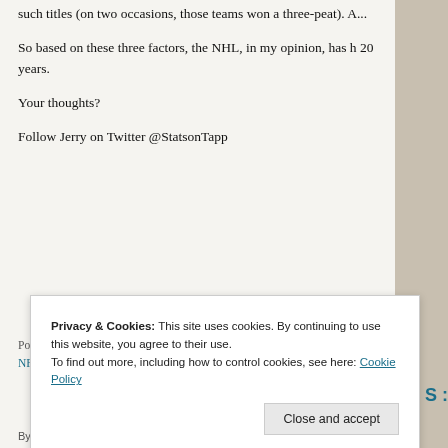such titles (on two occasions, those teams won a three-peat). A...
So based on these three factors, the NHL, in my opinion, has h... 20 years.
Your thoughts?
Follow Jerry on Twitter @StatsonTapp
Posted in: Multiple Sports | Tagged: Detroit Red Wings, Los Angeles, Nation...
NFL, NHL, Stanley Cup, Super Bowl,
Privacy & Cookies: This site uses cookies. By continuing to use this website, you agree to their use.
To find out more, including how to control cookies, see here: Cookie Policy
Close and accept
By Jerry Tapp on June 23, 2013 | Leave a comment